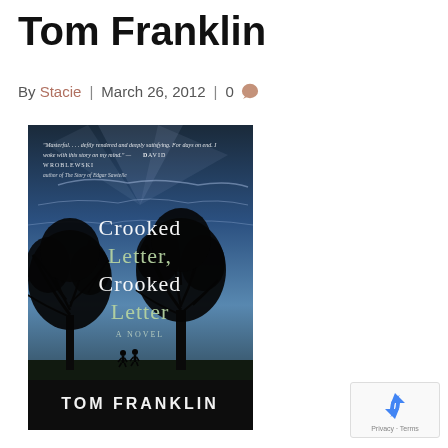Tom Franklin
By Stacie | March 26, 2012 | 0
[Figure (photo): Book cover of 'Crooked Letter, Crooked Letter' by Tom Franklin. Dark blue sky background with silhouettes of two large trees and two small figures walking. Title text in green/teal serif font. Author name 'TOM FRANKLIN' in white capital letters at bottom. Quote at top from David Wroblewski: 'Masterful... deftly rendered and deeply satisfying. For days on end, I woke with this story on my mind.']
[Figure (logo): reCAPTCHA badge with blue recycling-arrow icon, showing 'Privacy - Terms' text below.]